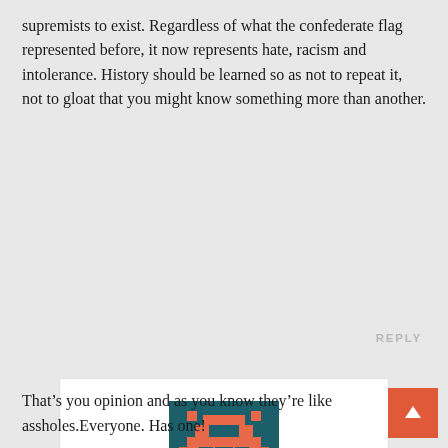supremists to exist. Regardless of what the confederate flag represented before, it now represents hate, racism and intolerance. History should be learned so as not to repeat it, not to gloat that you might know something more than another.
REPLY
[Figure (illustration): Pixel art avatar of a retro space invader style creature in orange on a dark teal background]
Eagleclaw 1
AUGUST 13, 2017 AT 9:06 PM
That’s you opinion and as you know they’re like assholes.Everyone. Has one!